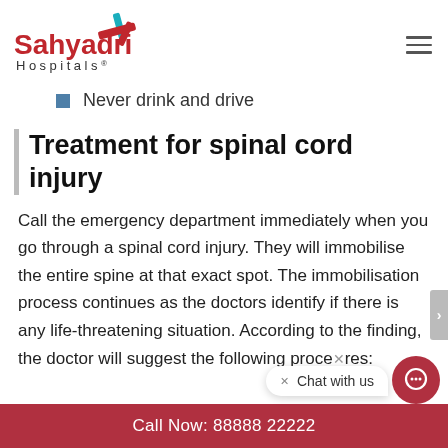Sahyadri Hospitals
Never drink and drive
Treatment for spinal cord injury
Call the emergency department immediately when you go through a spinal cord injury. They will immobilise the entire spine at that exact spot. The immobilisation process continues as the doctors identify if there is any life-threatening situation. According to the finding, the doctor will suggest the following procedures:
Call Now: 88888 22222